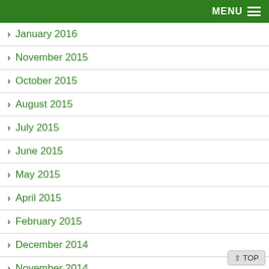MENU
January 2016
November 2015
October 2015
August 2015
July 2015
June 2015
May 2015
April 2015
February 2015
December 2014
November 2014